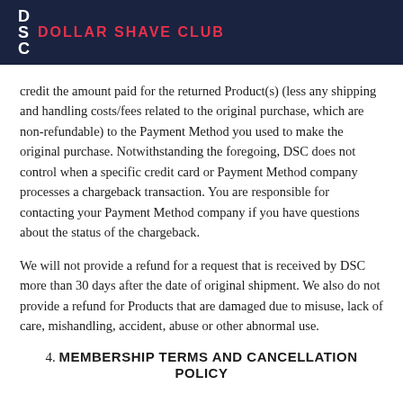DSC DOLLAR SHAVE CLUB
credit the amount paid for the returned Product(s) (less any shipping and handling costs/fees related to the original purchase, which are non-refundable) to the Payment Method you used to make the original purchase. Notwithstanding the foregoing, DSC does not control when a specific credit card or Payment Method company processes a chargeback transaction. You are responsible for contacting your Payment Method company if you have questions about the status of the chargeback.
We will not provide a refund for a request that is received by DSC more than 30 days after the date of original shipment. We also do not provide a refund for Products that are damaged due to misuse, lack of care, mishandling, accident, abuse or other abnormal use.
4. MEMBERSHIP TERMS AND CANCELLATION POLICY